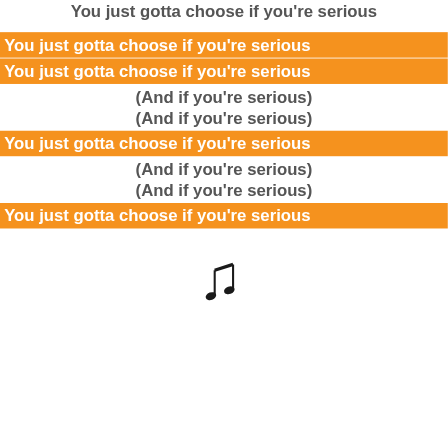You just gotta choose if you're serious
You just gotta choose if you're serious
You just gotta choose if you're serious
(And if you're serious)
(And if you're serious)
You just gotta choose if you're serious
(And if you're serious)
(And if you're serious)
You just gotta choose if you're serious
[Figure (other): Musical note symbol (eighth note / beamed eighth notes)]